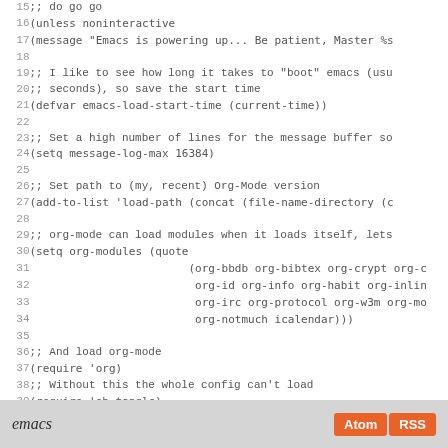Code listing lines 15-43: Emacs initialization Lisp code
emacs  Atom  RSS